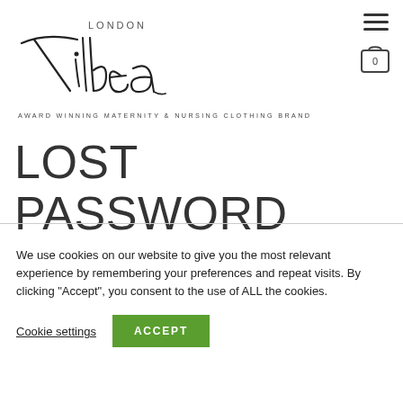[Figure (logo): Tilbea London logo — stylized script 'Tilbea' with 'LONDON' in small caps above]
[Figure (other): Hamburger menu icon (three horizontal lines) in top right]
[Figure (other): Shopping cart icon with '0' badge in top right]
AWARD WINNING MATERNITY & NURSING CLOTHING BRAND
LOST PASSWORD
We use cookies on our website to give you the most relevant experience by remembering your preferences and repeat visits. By clicking "Accept", you consent to the use of ALL the cookies.
Cookie settings
ACCEPT